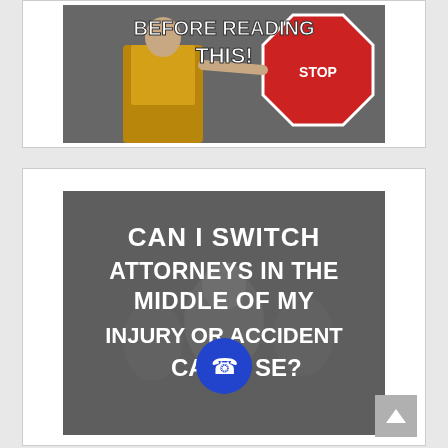[Figure (illustration): Construction worker in yellow safety vest holding a stop sign, with bold white text overlay reading 'BEFORE READING THIS!']
[Figure (illustration): Group of people in background with dark overlay, bold white text reading 'CAN I SWITCH ATTORNEYS IN THE MIDDLE OF MY INJURY OR ACCIDENT CA[SE]?' with a blue phone icon/button overlaid at the bottom center]